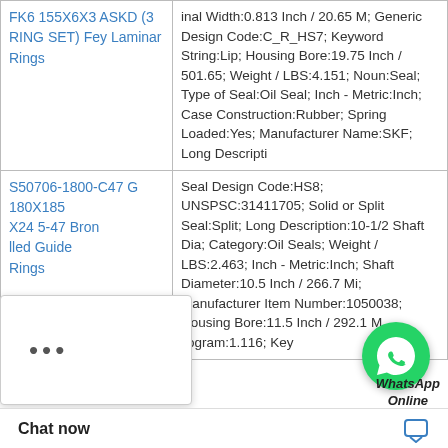| Product Name | Product Description |
| --- | --- |
| FK6 155X6X3 ASKD (3 RING SET) Fey Laminar Rings | inal Width:0.813 Inch / 20.65 M; Generic Design Code:C_R_HS7; Keyword String:Lip; Housing Bore:19.75 Inch / 501.65; Weight / LBS:4.151; Noun:Seal; Type of Seal:Oil Seal; Inch - Metric:Inch; Case Construction:Rubber; Spring Loaded:Yes; Manufacturer Name:SKF; Long Descripti |
| S50706-1800-C47 G 180X185 X24 5-47 Bron Filled Guide Rings | Seal Design Code:HS8; UNSPSC:31411705; Solid or Split Seal:Split; Long Description:10-1/2 Shaft Dia; Category:Oil Seals; Weight / LBS:2.463; Inch - Metric:Inch; Shaft Diameter:10.5 Inch / 266.7 Mi; Manufacturer Item Number:1050038; Housing Bore:11.5 Inch / 292.1 M ilogram:1.116; Key |
[Figure (other): WhatsApp Online chat overlay button with green circle icon and italic bold text 'WhatsApp Online']
[Figure (other): Browser UI popup overlay with X close button and three dots menu, partially obscuring product name in second row]
Chat now